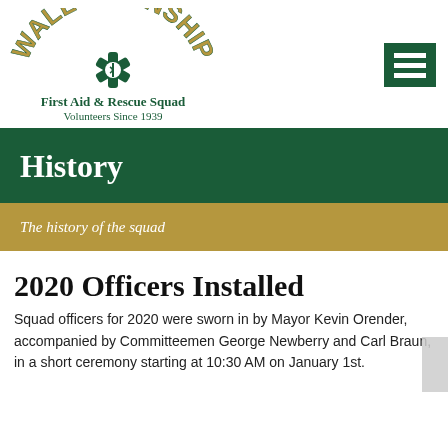[Figure (logo): Wall Township First Aid & Rescue Squad logo with arched text 'WALL TOWNSHIP' in gold/green, a Star of Life emblem, and text 'First Aid & Rescue Squad — Volunteers Since 1939']
[Figure (other): Hamburger menu icon — dark green square with three white horizontal bars]
History
The history of the squad
2020 Officers Installed
Squad officers for 2020 were sworn in by Mayor Kevin Orender, accompanied by Committeemen George Newberry and Carl Braun, in a short ceremony starting at 10:30 AM on January 1st.